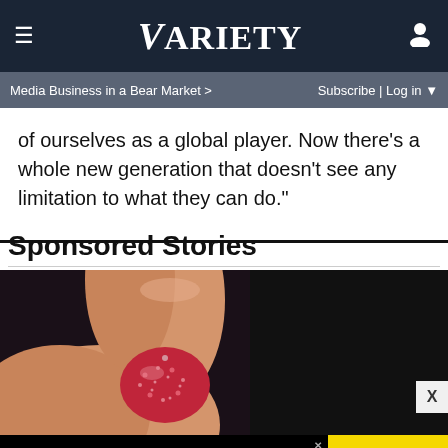VARIETY
Media Business in a Bear Market >
Subscribe | Log in
of ourselves as a global player. Now there's a whole new generation that doesn't see any limitation to what they can do."
Sponsored Stories
[Figure (photo): Close-up of fingers holding a small red sugary gummy candy against a dark background]
[Figure (infographic): Amazon Fire HD Tablets advertisement banner — 'AMAZON FIRE HD TABLETS JUST $45 RIGHT NOW' with SPY logo on yellow background]